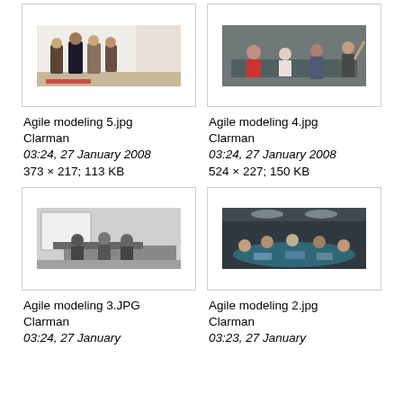[Figure (photo): Thumbnail of Agile modeling 5.jpg - people standing at whiteboard]
[Figure (photo): Thumbnail of Agile modeling 4.jpg - people in meeting room]
Agile modeling 5.jpg
Clarman
03:24, 27 January 2008
373 × 217; 113 KB
Agile modeling 4.jpg
Clarman
03:24, 27 January 2008
524 × 227; 150 KB
[Figure (photo): Thumbnail of Agile modeling 3.JPG - black and white photo of people at desks]
[Figure (photo): Thumbnail of Agile modeling 2.jpg - people sitting around conference table]
Agile modeling 3.JPG
Clarman
03:24, 27 January 2008
Agile modeling 2.jpg
Clarman
03:23, 27 January